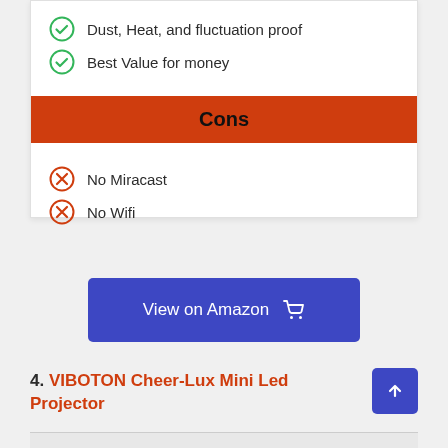Dust, Heat, and fluctuation proof
Best Value for money
Cons
No Miracast
No Wifi
View on Amazon
4. VIBOTON Cheer-Lux Mini Led Projector